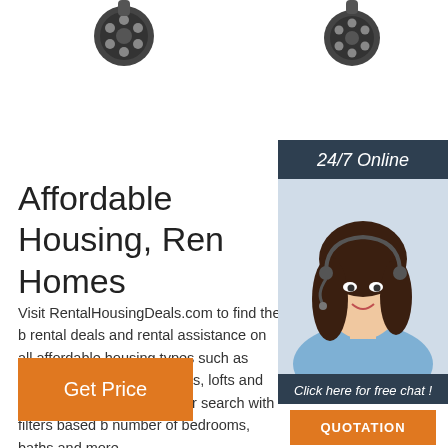[Figure (photo): Black electrical connector plug, top-left portion visible]
[Figure (photo): Black electrical connector plug, top-right portion visible]
[Figure (photo): Side panel: woman with headset, 24/7 Online header, Click here for free chat, QUOTATION button]
Affordable Housing, Ren Homes
Visit RentalHousingDeals.com to find the b rental deals and rental assistance on all affordable housing types such as houses, apartments, condos, lofts and townhouses customize your search with filters based b number of bedrooms, baths and more.
[Figure (other): Get Price button in orange]